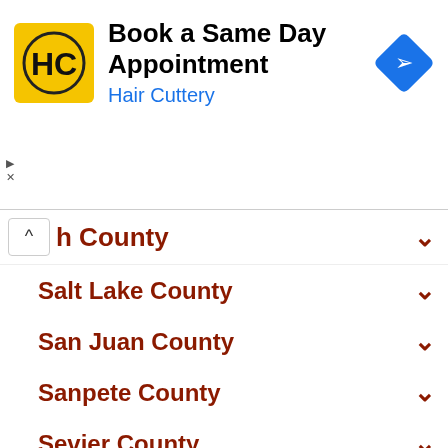[Figure (infographic): Hair Cuttery advertisement banner with logo, text 'Book a Same Day Appointment' and 'Hair Cuttery', and a blue navigation arrow icon]
h County
Salt Lake County
San Juan County
Sanpete County
Sevier County
Summit County
Tooele County
Uintah County
Utah County
Wasatch County